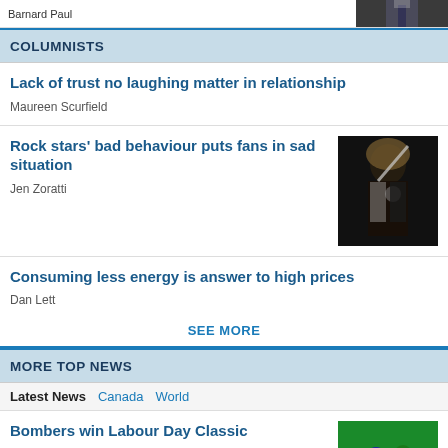[Figure (photo): Partial top strip showing a man in a suit and tie, cropped at top]
COLUMNISTS
Lack of trust no laughing matter in relationship
Maureen Scurfield
Rock stars' bad behaviour puts fans in sad situation
Jen Zoratti
[Figure (photo): Rock performer on stage, dark background]
Consuming less energy is answer to high prices
Dan Lett
SEE MORE
MORE TOP NEWS
Latest News   Canada   World
Bombers win Labour Day Classic
Jeff Hamilton
[Figure (photo): Football players on field, green turf]